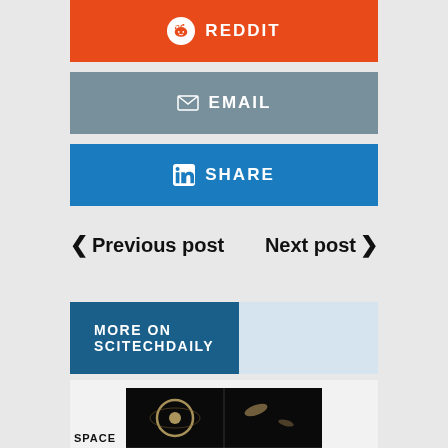[Figure (other): Reddit share button - orange background with Reddit alien logo and text REDDIT]
[Figure (other): Email share button - grey-teal background with envelope icon and text EMAIL]
[Figure (other): LinkedIn share button - blue background with LinkedIn logo and text SHARE]
< Previous post    Next post >
MORE ON SCITECHDAILY
[Figure (photo): Four-panel astronomical image showing gravitational lensing of galaxies on dark background, labeled HR0435-3221 and WFI2033-4723]
SPACE